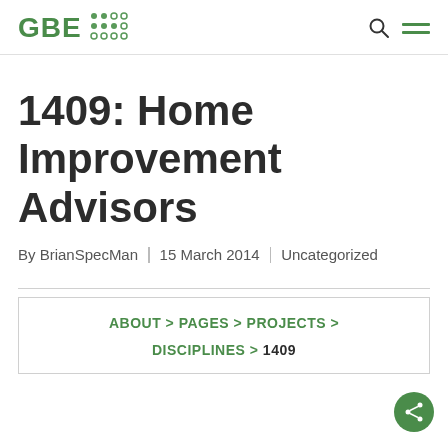GBE [logo with dot grid]
1409: Home Improvement Advisors
By BrianSpecMan | 15 March 2014 | Uncategorized
ABOUT > PAGES > PROJECTS > DISCIPLINES > 1409